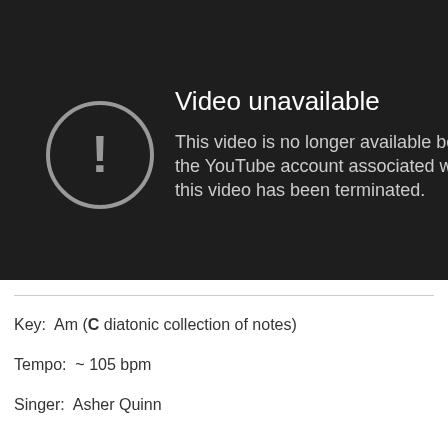[Figure (screenshot): YouTube 'Video unavailable' error screen with dark background, exclamation mark icon in a circle, heading 'Video unavailable', and message 'This video is no longer available because the YouTube account associated with this video has been terminated.']
Key:  Am (C diatonic collection of notes)
Tempo:  ~ 105 bpm
Singer:  Asher Quinn